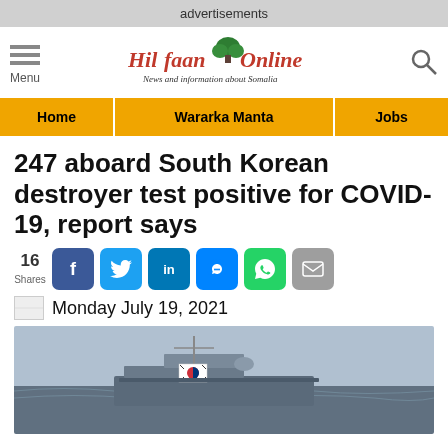advertisements
[Figure (logo): Hilfaan Online logo with tree graphic and tagline 'News and information about Somalia']
Home | Wararka Manta | Jobs
247 aboard South Korean destroyer test positive for COVID-19, report says
16 Shares — social share buttons: Facebook, Twitter, LinkedIn, Messenger, WhatsApp, Email
Monday July 19, 2021
[Figure (photo): South Korean naval destroyer ship at sea with South Korean flag visible on the deck, grey sky and ocean background]